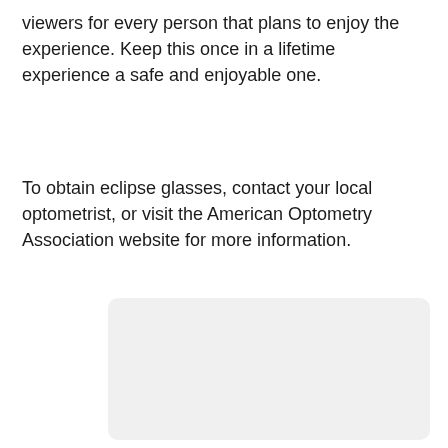viewers for every person that plans to enjoy the experience. Keep this once in a lifetime experience a safe and enjoyable one.
To obtain eclipse glasses, contact your local optometrist, or visit the American Optometry Association website for more information.
[Figure (photo): A light gray rectangular placeholder image with rounded corners]